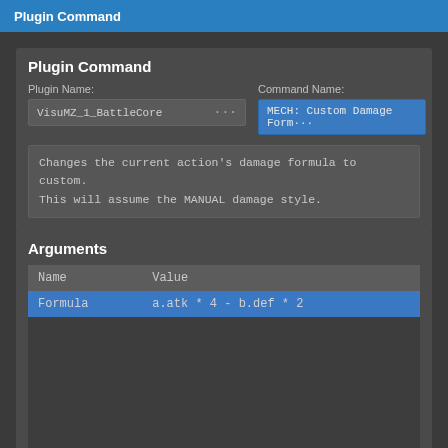Plugin Command
Plugin Command
Plugin Name: VisuMZ_1_BattleCore ... | Command Name: MECH: Custom Damage Form...
Changes the current action's damage formula to custom.
This will assume the MANUAL damage style.
Arguments
| Name | Value |
| --- | --- |
| Formula | a.atk * 4 - b.def * 2 |